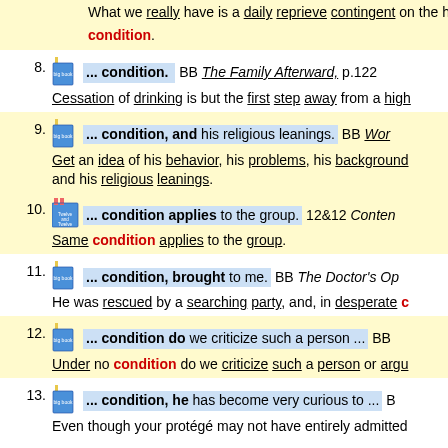What we really have is a daily reprieve contingent on the condition.
8. ... condition. BB The Family Afterward, p.122 Cessation of drinking is but the first step away from a high
9. ... condition, and his religious leanings. BB Work Get an idea of his behavior, his problems, his background and his religious leanings.
10. ... condition applies to the group. 12&12 Content Same condition applies to the group.
11. ... condition, brought to me. BB The Doctor's Op He was rescued by a searching party, and, in desperate c
12. ... condition do we criticize such a person ... BB Under no condition do we criticize such a person or argu
13. ... condition, he has become very curious to ... Even though your protégé may not have entirely admitted